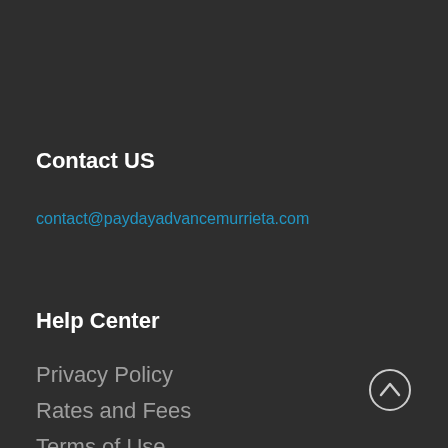Contact US
contact@paydayadvancemurrieta.com
Help Center
Privacy Policy
Rates and Fees
Terms of Use